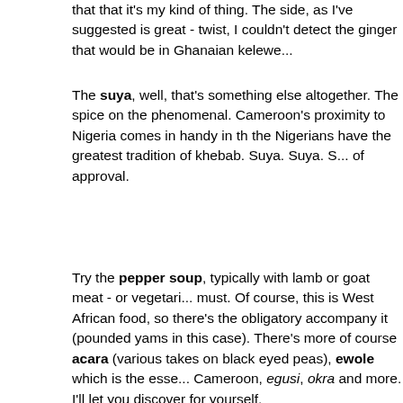that that it's my kind of thing. The side, as I've suggested is great - twist, I couldn't detect the ginger that would be in Ghanaian kelewe...
The suya, well, that's something else altogether. The spice on the phenomenal. Cameroon's proximity to Nigeria comes in handy in the the Nigerians have the greatest tradition of khebab. Suya. Suya. S... of approval.
Try the pepper soup, typically with lamb or goat meat - or vegetari... must. Of course, this is West African food, so there's the obligatory accompany it (pounded yams in this case). There's more of course acara (various takes on black eyed peas), ewole which is the esse... Cameroon, egusi, okra and more. I'll let you discover for yourself.
I was struck that everything was light; she cooks with a delicate tou... African restaurants go all out with heavy fare that the part of the cli... are cab drivers appreciate. You will eat a lot here and you won't reg... reminded that the beautiful people live in California. There's sensiti... market. Astute, I must say.
Midway through your sustained attack on the delights at hand, she walk around the place surveying the fruits of her labour. She doesn... ask; it's a done deal. But she does anyway. And yeah, she knows a... seen it before: your appreciation is plainly evident from the precurs... on your face, even before you launch into the obligatory mumbled...